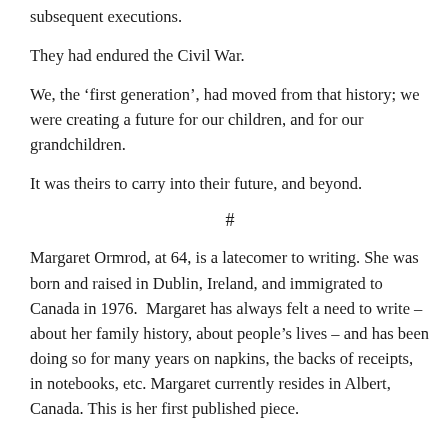subsequent executions.
They had endured the Civil War.
We, the ‘first generation’, had moved from that history; we were creating a future for our children, and for our grandchildren.
It was theirs to carry into their future, and beyond.
#
Margaret Ormrod, at 64, is a latecomer to writing. She was born and raised in Dublin, Ireland, and immigrated to Canada in 1976. Margaret has always felt a need to write – about her family history, about people’s lives – and has been doing so for many years on napkins, the backs of receipts, in notebooks, etc. Margaret currently resides in Albert, Canada. This is her first published piece.